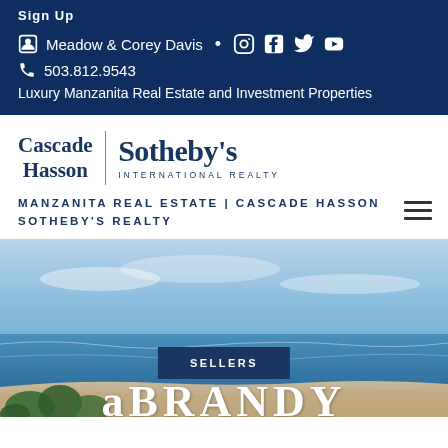Sign Up
Meadow & Corey Davis  •  [Instagram] [Facebook] [Twitter] [YouTube]
503.812.9543
Luxury Manzanita Real Estate and Investment Properties
[Figure (logo): Cascade Hasson Sotheby's International Realty logo]
MANZANITA REAL ESTATE | CASCADE HASSON SOTHEBY'S REALTY
[Figure (photo): Aerial coastal beach scene with ocean, sandy beach, and vegetation. SELLERS button overlay. Text 'BRAND' partially visible at bottom.]